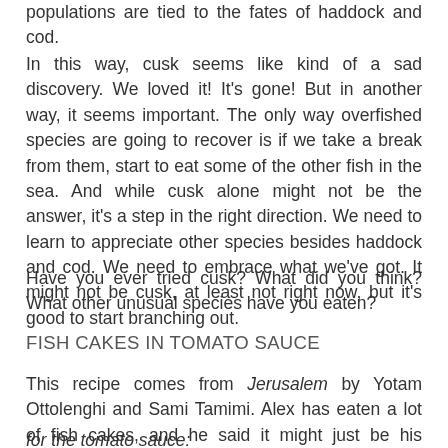populations are tied to the fates of haddock and cod.
In this way, cusk seems like kind of a sad discovery. We loved it! It's gone! But in another way, it seems important. The only way overfished species are going to recover is if we take a break from them, start to eat some of the other fish in the sea. And while cusk alone might not be the answer, it's a step in the right direction. We need to learn to appreciate other species besides haddock and cod. We need to embrace what we've got. It might not be cusk, at least not right now, but it's good to start branching out.
Have you ever tried cusk? What did you think? What other unusual species have you eaten?
FISH CAKES IN TOMATO SAUCE
This recipe comes from Jerusalem by Yotam Ottolenghi and Sami Tamimi. Alex has eaten a lot of fish cakes, and he said it might just be his favorite. Ever.
for the tomato sauce: